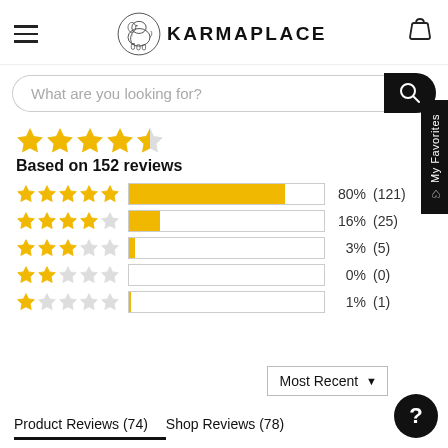[Figure (logo): KarmaPlace logo with elephant illustration and text KARMAPLACE]
[Figure (screenshot): Search bar with placeholder text 'What are you looking for?']
Based on 152 reviews
[Figure (bar-chart): Review rating distribution]
Product Reviews (74)   Shop Reviews (78)